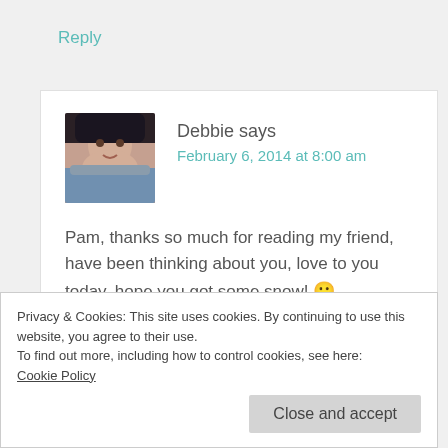Reply
[Figure (photo): Avatar photo of Debbie, a woman wearing a dark hat, smiling]
Debbie says
February 6, 2014 at 8:00 am
Pam, thanks so much for reading my friend, have been thinking about you, love to you today, hope you got some snow! 🙂
Privacy & Cookies: This site uses cookies. By continuing to use this website, you agree to their use.
To find out more, including how to control cookies, see here:
Cookie Policy
Close and accept